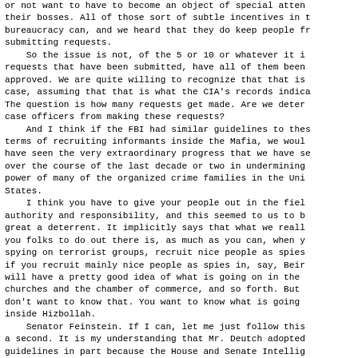or not want to have to become an object of special attention of their bosses. All of those sort of subtle incentives in the bureaucracy can, and we heard that they do keep people from submitting requests.
    So the issue is not, of the 5 or 10 or whatever it is, requests that have been submitted, have all of them been approved. We are quite willing to recognize that that is the case, assuming that that is what the CIA's records indicate. The question is how many requests get made. Are we deterring case officers from making these requests?
    And I think if the FBI had similar guidelines to these in terms of recruiting informants inside the Mafia, we would not have seen the very extraordinary progress that we have seen over the course of the last decade or two in undermining the power of many of the organized crime families in the United States.
    I think you have to give your people out in the field authority and responsibility, and this seemed to us to be too great a deterrent. It implicitly says that what we really want you folks to do out there is, as much as you can, when you are spying on terrorist groups, recruit nice people as spies. And if you recruit mainly nice people as spies in, say, Beirut, you will have a pretty good idea of what is going on in the local churches and the chamber of commerce, and so forth. But you don't want to know that. You want to know what is going on inside Hizbollah.
    Senator Feinstein. If I can, let me just follow this for a second. It is my understanding that Mr. Deutch adopted these guidelines in part because the House and Senate Intelligence Committees were never informed of the recruitment of